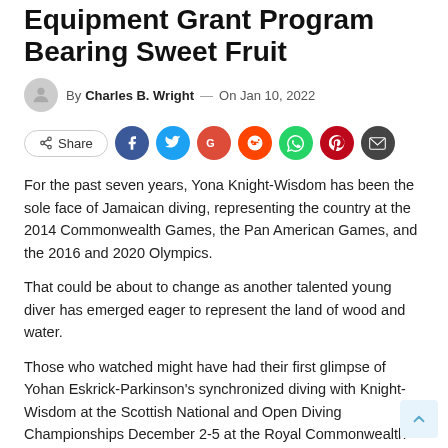Equipment Grant Program Bearing Sweet Fruit
By Charles B. Wright — On Jan 10, 2022
[Figure (infographic): Social share buttons: Share button outline, followed by circular icons for Facebook, Twitter, Google+, Reddit, WhatsApp, Pinterest, and Email]
For the past seven years, Yona Knight-Wisdom has been the sole face of Jamaican diving, representing the country at the 2014 Commonwealth Games, the Pan American Games, and the 2016 and 2020 Olympics.
That could be about to change as another talented young diver has emerged eager to represent the land of wood and water.
Those who watched might have had their first glimpse of Yohan Eskrick-Parkinson's synchronized diving with Knight-Wisdom at the Scottish National and Open Diving Championships December 2-5 at the Royal Commonwealth Pool in Edinburgh.